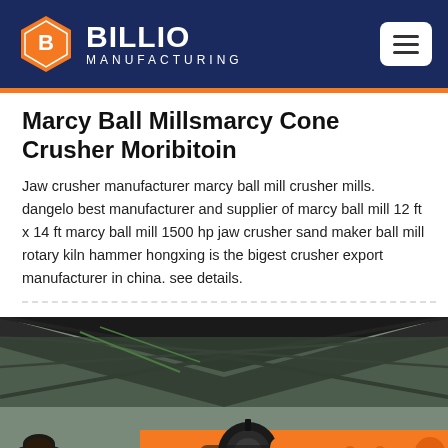[Figure (logo): Billio Manufacturing logo with orange hexagon icon and white text on dark navy background]
Marcy Ball Millsmarcy Cone Crusher Moribitoin
Jaw crusher manufacturer marcy ball mill crusher mills. dangelo best manufacturer and supplier of marcy ball mill 12 ft x 14 ft marcy ball mill 1500 hp jaw crusher sand maker ball mill rotary kiln hammer hongxing is the bigest crusher export manufacturer in china. see details.
[Figure (photo): Industrial orange ball mill machine inside a large factory shed with metal roof structure]
Message   Online Chat